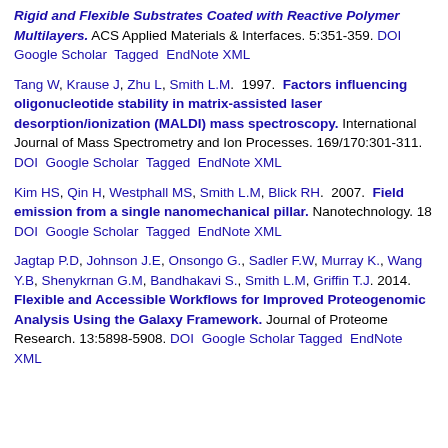Rigid and Flexible Substrates Coated with Reactive Polymer Multilayers. ACS Applied Materials & Interfaces. 5:351-359. DOI Google Scholar Tagged EndNote XML
Tang W, Krause J, Zhu L, Smith L.M. 1997. Factors influencing oligonucleotide stability in matrix-assisted laser desorption/ionization (MALDI) mass spectroscopy. International Journal of Mass Spectrometry and Ion Processes. 169/170:301-311. DOI Google Scholar Tagged EndNote XML
Kim HS, Qin H, Westphall MS, Smith L.M, Blick RH. 2007. Field emission from a single nanomechanical pillar. Nanotechnology. 18 DOI Google Scholar Tagged EndNote XML
Jagtap P.D, Johnson J.E, Onsongo G., Sadler F.W, Murray K., Wang Y.B, Shenykrnan G.M, Bandhakavi S., Smith L.M, Griffin T.J. 2014. Flexible and Accessible Workflows for Improved Proteogenomic Analysis Using the Galaxy Framework. Journal of Proteome Research. 13:5898-5908. DOI Google Scholar Tagged EndNote XML